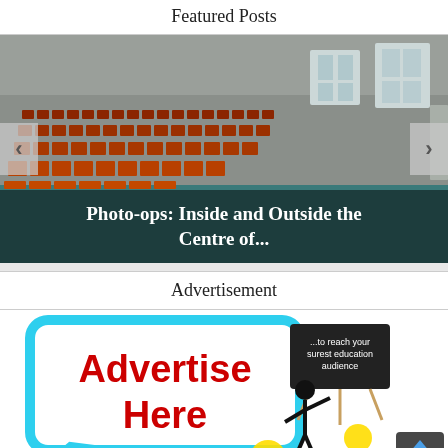Featured Posts
[Figure (photo): Auditorium interior with rows of orange/red seats, teal floor, gray walls and windows. Slideshow carousel with left/right navigation arrows. Overlay text reads: Photo-ops: Inside and Outside the Centre of...]
Advertisement
[Figure (illustration): Advertisement banner image showing a speech bubble with 'Advertise Here' in red bold text with blue border, and a figure of a person presenting at a board that reads '...to reach your surest education audience', with audience figures and light bulb graphics below.]